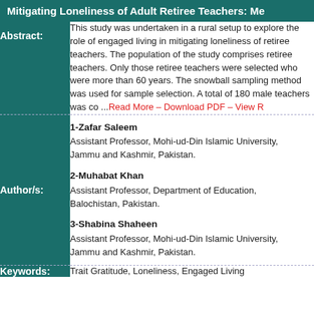Mitigating Loneliness of Adult Retiree Teachers: Me
| Label | Content |
| --- | --- |
| Abstract: | This study was undertaken in a rural setup to explore the role of engaged living in mitigating loneliness of retiree teachers. The population of the study comprised retiree teachers. Only those retiree teachers were selected who were more than 60 years. The snowball sampling method was used for sample selection. A total of 180 male teachers was co ... Read More – Download PDF – View R |
| Author/s: | 1-Zafar Saleem
Assistant Professor, Mohi-ud-Din Islamic University, Jammu and Kashmir, Pakistan.
2-Muhabat Khan
Assistant Professor, Department of Education, Balochistan, Pakistan.
3-Shabina Shaheen
Assistant Professor, Mohi-ud-Din Islamic University, Jammu and Kashmir, Pakistan. |
| Keywords: | Trait Gratitude, Loneliness, Engaged Living |